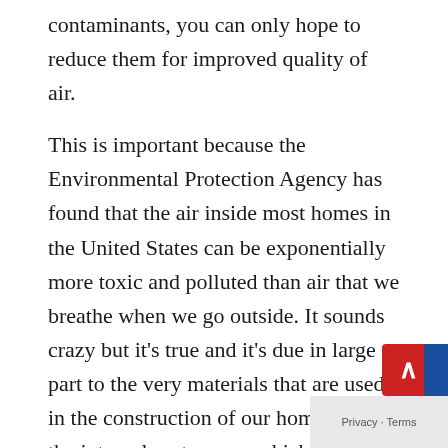contaminants, you can only hope to reduce them for improved quality of air.
This is important because the Environmental Protection Agency has found that the air inside most homes in the United States can be exponentially more toxic and polluted than air that we breathe when we go outside. It sounds crazy but it's true and it's due in large part to the very materials that are used in the construction of our homes and all the internal systems on which they operate.
These toxins and pollutants come from things like glues and epoxies to carpets, paint, and formaldehyde used in the manufacturing of so items in our homes. Even the structures our ho